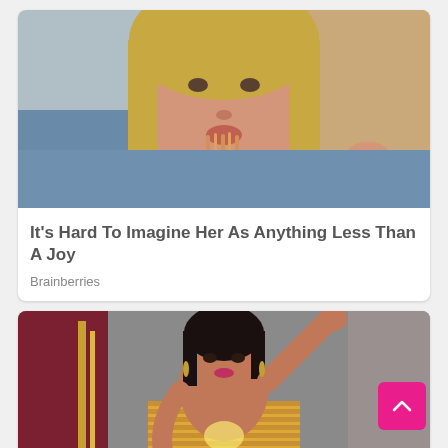[Figure (photo): Close-up photo of a blonde woman eating spaghetti/noodles, wearing a blue denim top]
It's Hard To Imagine Her As Anything Less Than A Joy
Brainberries
[Figure (photo): Photo of a young woman with dark hair in a strapless gold/bronze outfit posing with one arm raised, decorative background]